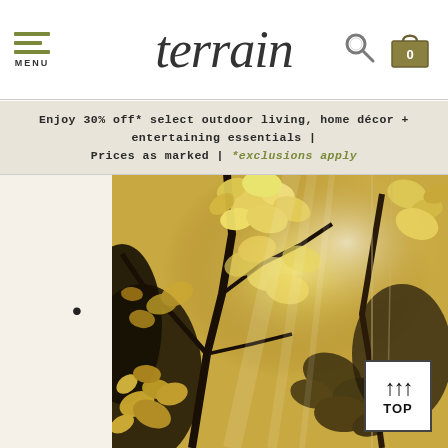terrain — navigation header with MENU, logo, search and cart icons
Enjoy 30% off* select outdoor living, home décor + entertaining essentials | Prices as marked | *exclusions apply
[Figure (photo): Golden botanical greenhouse photo showing lush dried/golden floral arrangements with warm sunlight streaming through glass panels, predominantly gold and amber tones with dark branches and foliage]